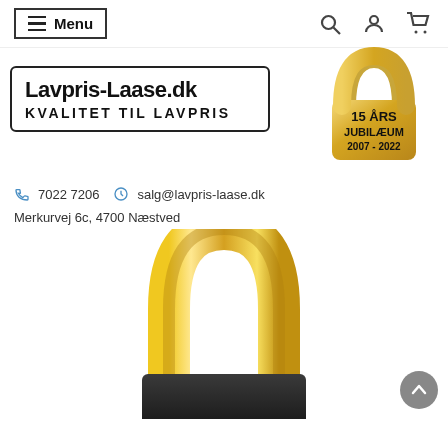Menu | Search | Account | Cart
[Figure (logo): Lavpris-Laase.dk logo with text KVALITET TIL LAVPRIS and a gold padlock badge showing 15 ÅRS JUBILÆUM 2007-2022]
7022 7206   salg@lavpris-laase.dk   Merkurvej 6c, 4700 Næstved
[Figure (photo): Close-up photo of a gold/brass padlock shackle (U-shaped bar) with dark lock body, partially cropped at bottom of page]